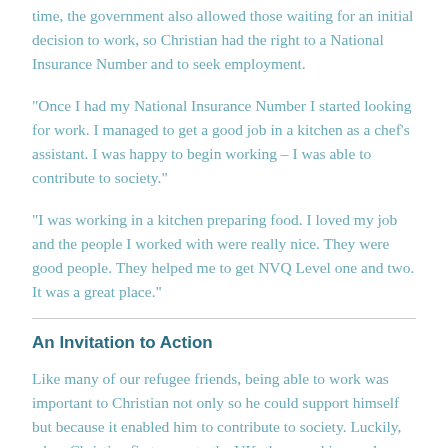time, the government also allowed those waiting for an initial decision to work, so Christian had the right to a National Insurance Number and to seek employment.
“Once I had my National Insurance Number I started looking for work. I managed to get a good job in a kitchen as a chef’s assistant. I was happy to begin working – I was able to contribute to society.”
“I was working in a kitchen preparing food. I loved my job and the people I worked with were really nice. They were good people. They helped me to get NVQ Level one and two. It was a great place.”
An Invitation to Action
Like many of our refugee friends, being able to work was important to Christian not only so he could support himself but because it enabled him to contribute to society. Luckily, when Christian first came to the UK, those seeking asylum were allowed to work, however this